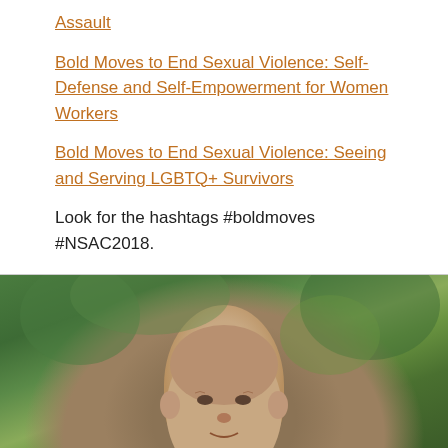Assault
Bold Moves to End Sexual Violence: Self-Defense and Self-Empowerment for Women Workers
Bold Moves to End Sexual Violence: Seeing and Serving LGBTQ+ Survivors
Look for the hashtags #boldmoves #NSAC2018.
[Figure (photo): Portrait photo of a middle-aged man with short hair, outdoors with blurred green foliage in the background.]